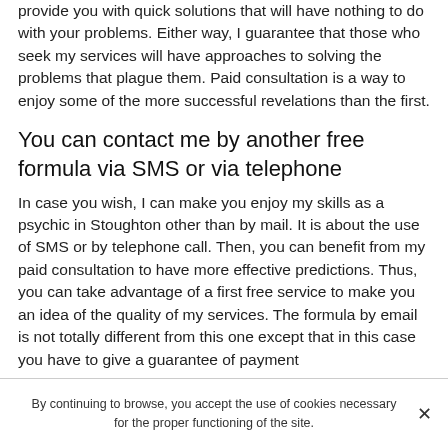provide you with quick solutions that will have nothing to do with your problems. Either way, I guarantee that those who seek my services will have approaches to solving the problems that plague them. Paid consultation is a way to enjoy some of the more successful revelations than the first.
You can contact me by another free formula via SMS or via telephone
In case you wish, I can make you enjoy my skills as a psychic in Stoughton other than by mail. It is about the use of SMS or by telephone call. Then, you can benefit from my paid consultation to have more effective predictions. Thus, you can take advantage of a first free service to make you an idea of the quality of my services. The formula by email is not totally different from this one except that in this case you have to give a guarantee of payment
By continuing to browse, you accept the use of cookies necessary for the proper functioning of the site.